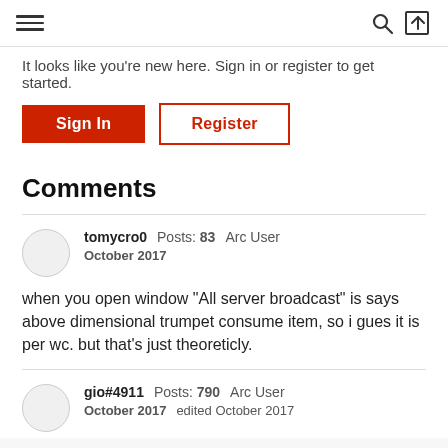Navigation header with hamburger menu, search icon, and login icon
It looks like you're new here. Sign in or register to get started.
Sign In | Register
Comments
tomycro0  Posts: 83  Arc User
October 2017
when you open window "All server broadcast" is says above dimensional trumpet consume item, so i gues it is per wc. but that's just theoreticly.
gio#4911  Posts: 790  Arc User
October 2017  edited October 2017